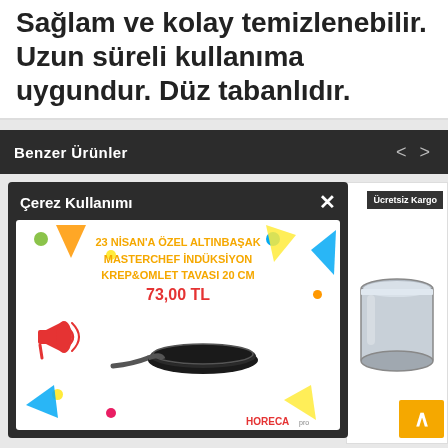Sağlam ve kolay temizlenebilir. Uzun süreli kullanıma uygundur. Düz tabanlıdır.
Benzer Ürünler
[Figure (screenshot): Cookie popup with promotional ad for Altınbaşak Masterchef induction crepe & omelette pan 20 cm, priced 73.00 TL, with decorative colorful triangles and circles on white background, megaphone icon on left]
[Figure (photo): Stainless steel pot/pan product photo on white background with Ücretsiz Kargo badge]
Whatsapp Sipariş Vermek İçin Tıklayın